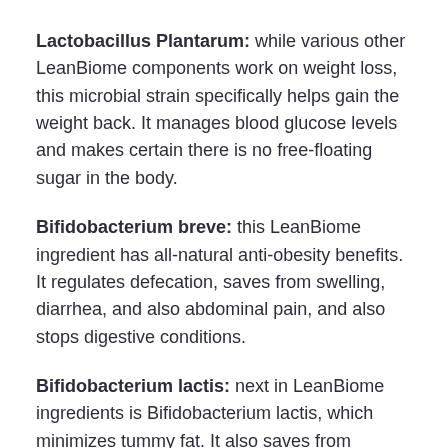Lactobacillus Plantarum: while various other LeanBiome components work on weight loss, this microbial strain specifically helps gain the weight back. It manages blood glucose levels and makes certain there is no free-floating sugar in the body.
Bifidobacterium breve: this LeanBiome ingredient has all-natural anti-obesity benefits. It regulates defecation, saves from swelling, diarrhea, and also abdominal pain, and also stops digestive conditions.
Bifidobacterium lactis: next in LeanBiome ingredients is Bifidobacterium lactis, which minimizes tummy fat. It also saves from digestion